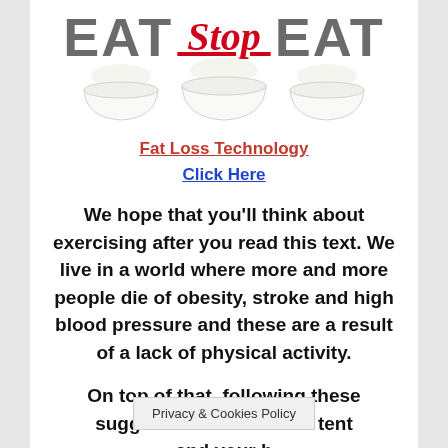[Figure (logo): Eat Stop Eat logo with three white bowls and stylized text]
Fat Loss Technology
Click Here
We hope that you'll think about exercising after you read this text. We live in a world where more and more people die of obesity, stroke and high blood pressure and these are a result of a lack of physical activity.
On top of that, following these suggestions is ent and your b t
Privacy & Cookies Policy